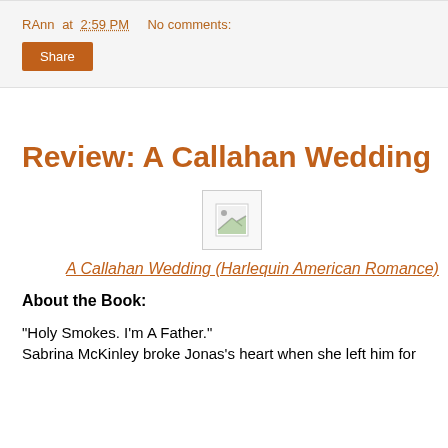RAnn at 2:59 PM   No comments:
Share
Review: A Callahan Wedding
[Figure (illustration): Broken/missing image placeholder icon]
A Callahan Wedding (Harlequin American Romance)
About the Book:
"Holy Smokes. I'm A Father."
Sabrina McKinley broke Jonas's heart when she left him for